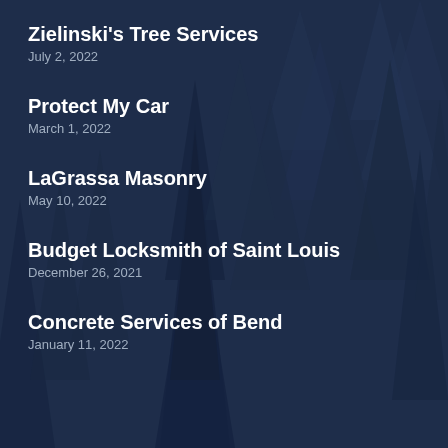Zielinski's Tree Services
July 2, 2022
Protect My Car
March 1, 2022
LaGrassa Masonry
May 10, 2022
Budget Locksmith of Saint Louis
December 26, 2021
Concrete Services of Bend
January 11, 2022